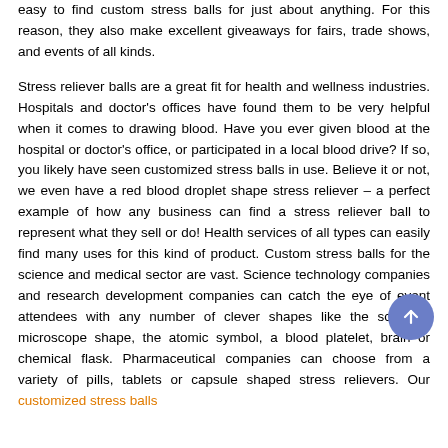easy to find custom stress balls for just about anything. For this reason, they also make excellent giveaways for fairs, trade shows, and events of all kinds.
Stress reliever balls are a great fit for health and wellness industries. Hospitals and doctor's offices have found them to be very helpful when it comes to drawing blood. Have you ever given blood at the hospital or doctor's office, or participated in a local blood drive? If so, you likely have seen customized stress balls in use. Believe it or not, we even have a red blood droplet shape stress reliever – a perfect example of how any business can find a stress reliever ball to represent what they sell or do! Health services of all types can easily find many uses for this kind of product. Custom stress balls for the science and medical sector are vast. Science technology companies and research development companies can catch the eye of event attendees with any number of clever shapes like the scientist, microscope shape, the atomic symbol, a blood platelet, brain or chemical flask. Pharmaceutical companies can choose from a variety of pills, tablets or capsule shaped stress relievers. Our customized stress balls